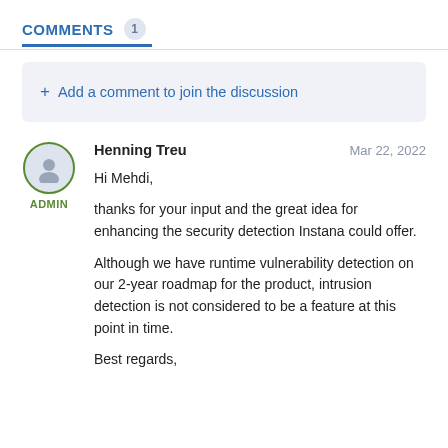COMMENTS 1
+ Add a comment to join the discussion
Henning Treu   Mar 22, 2022
Hi Mehdi,

thanks for your input and the great idea for enhancing the security detection Instana could offer.

Although we have runtime vulnerability detection on our 2-year roadmap for the product, intrusion detection is not considered to be a feature at this point in time.

Best regards,